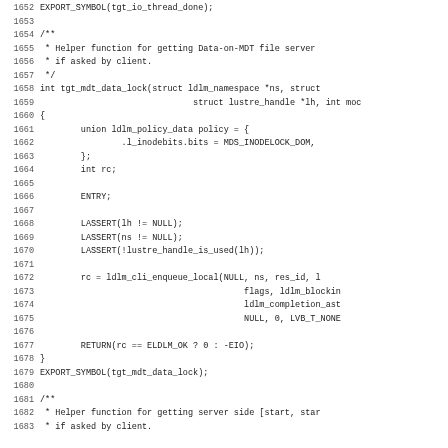Source code listing, lines 1652-1683, C language kernel code for tgt_mdt_data_lock function